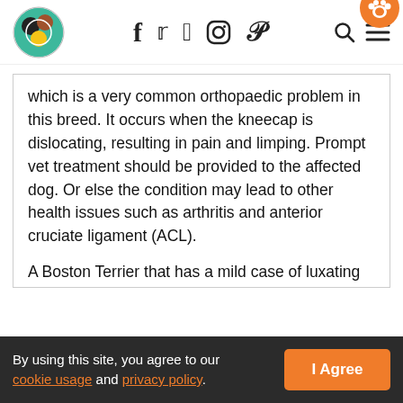Pet website header with logo, social icons (f, Twitter, Instagram, Pinterest), search and menu icons, and paw badge
which is a very common orthopaedic problem in this breed. It occurs when the kneecap is dislocating, resulting in pain and limping. Prompt vet treatment should be provided to the affected dog. Or else the condition may lead to other health issues such as arthritis and anterior cruciate ligament (ACL).

A Boston Terrier that has a mild case of luxating patella will need to be prescribed medications and supplements to strengthen the joints. In other
By using this site, you agree to our cookie usage and privacy policy.